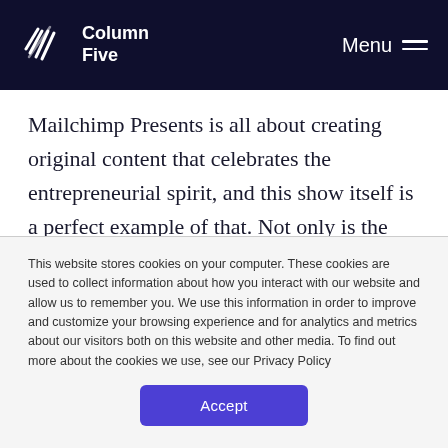Column Five — Menu
Mailchimp Presents is all about creating original content that celebrates the entrepreneurial spirit, and this show itself is a perfect example of that. Not only is the brand creating new and interesting content, they are providing real value, as the viewers can apply the on-screen lessons to their
This website stores cookies on your computer. These cookies are used to collect information about how you interact with our website and allow us to remember you. We use this information in order to improve and customize your browsing experience and for analytics and metrics about our visitors both on this website and other media. To find out more about the cookies we use, see our Privacy Policy
Accept